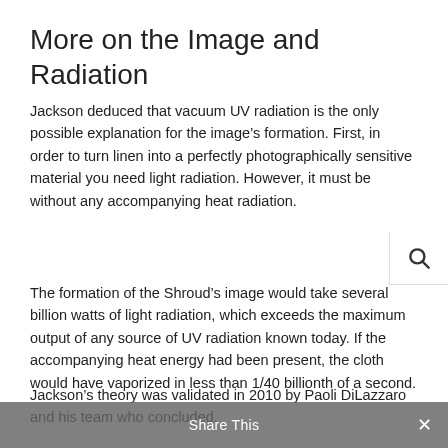More on the Image and Radiation
Jackson deduced that vacuum UV radiation is the only possible explanation for the image’s formation. First, in order to turn linen into a perfectly photographically sensitive material you need light radiation. However, it must be without any accompanying heat radiation.
The formation of the Shroud’s image would take several billion watts of light radiation, which exceeds the maximum output of any source of UV radiation known today. If the accompanying heat energy had been present, the cloth would have vaporized in less than 1/40 billionth of a second.
Jackson’s theory was validated in 2010 by Paoli DiLazzaro and his team who concluded.
Share This ×